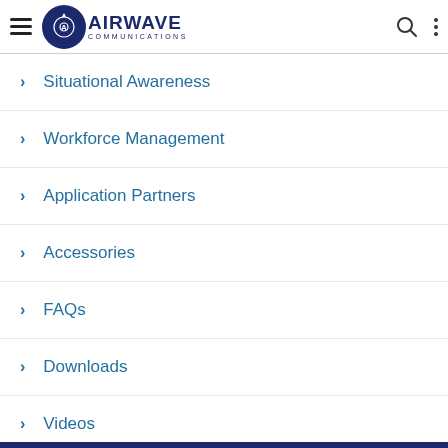Airwave Communications navigation header
> Situational Awareness
> Workforce Management
> Application Partners
> Accessories
> FAQs
> Downloads
> Videos